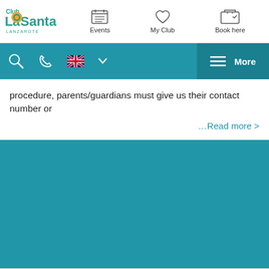[Figure (logo): Club La Santa Lanzarote logo with circular yellow and blue icon]
Events   My Club   Book here
Search | Phone | UK flag language | More
procedure, parents/guardians must give us their contact number or
…Read more >